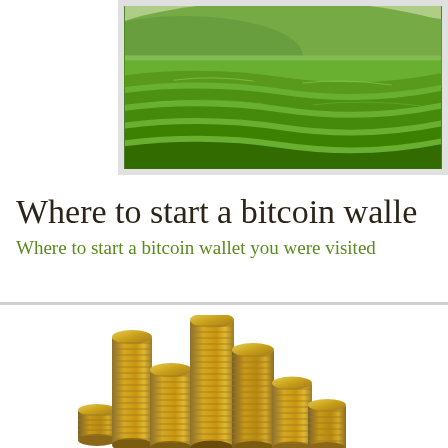[Figure (photo): Green terraced fields landscape photo, partially visible, with a light grey border frame]
Where to start a bitcoin walle
Where to start a bitcoin wallet you were visited
[Figure (photo): Multiple stacks of gold/bronze coins of varying heights arranged in a group on white background]